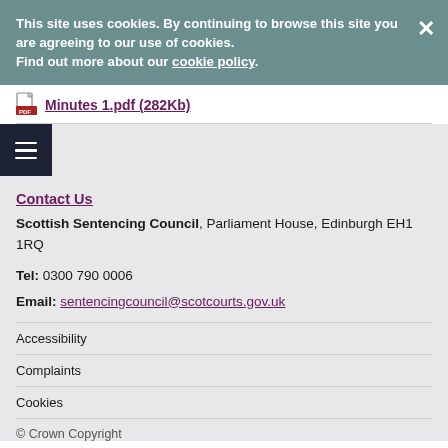This site uses cookies. By continuing to browse this site you are agreeing to our use of cookies.  Find out more about our cookie policy.
Minutes 1.pdf (282Kb)
Contact Us
Scottish Sentencing Council, Parliament House, Edinburgh EH1 1RQ
Tel: 0300 790 0006
Email: sentencingcouncil@scotcourts.gov.uk
Accessibility
Complaints
Cookies
© Crown Copyright